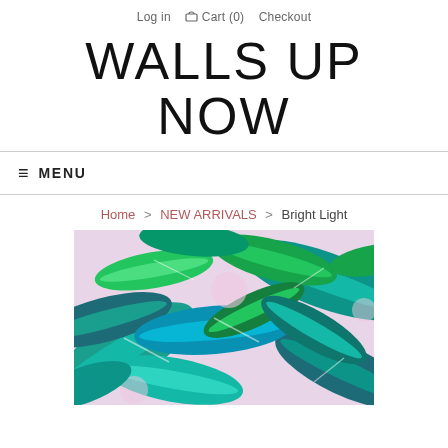Log in   Cart (0)   Checkout
WALLS UP NOW
≡ MENU
Home > NEW ARRIVALS > Bright Light
[Figure (illustration): Tropical leaf pattern illustration featuring lush green and teal banana/palm leaves on a light pink/lavender background. Dense overlapping foliage in various shades of green, teal, and dark blue-green.]